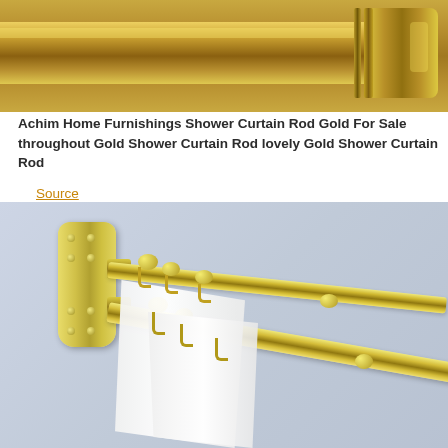[Figure (photo): Close-up photo of a gold/brass colored shower curtain rod end piece with ridged cylindrical finial against a gold rod background]
Achim Home Furnishings Shower Curtain Rod Gold For Sale throughout Gold Shower Curtain Rod lovely Gold Shower Curtain Rod
Source
[Figure (photo): Photo of a brass/gold double shower curtain rod system mounted on a light blue-grey wall, showing the wall bracket, two parallel gold rods with beaded curtain rings, and white curtain fabric hanging from the rings]